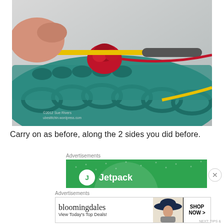[Figure (photo): Close-up photo of a hand holding a yellow crochet hook working through teal and red yarn in a colorful crochet project. A dark gray rubber handle is visible. The yarn shows teal, red, and yellow colors in a lace-like stitch pattern.]
Carry on as before, along the 2 sides you did before.
Advertisements
[Figure (screenshot): Green advertisement banner for Jetpack plugin with white dot pattern and circular logo.]
Advertisements
[Figure (screenshot): Bloomingdale's advertisement showing brand name text, 'View Today's Top Deals!' tagline, a woman in a hat, and a 'SHOP NOW >' button.]